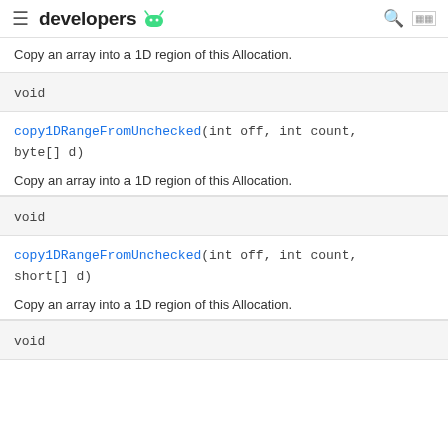developers [android logo]
Copy an array into a 1D region of this Allocation.
void
copy1DRangeFromUnchecked(int off, int count, byte[] d)
Copy an array into a 1D region of this Allocation.
void
copy1DRangeFromUnchecked(int off, int count, short[] d)
Copy an array into a 1D region of this Allocation.
void